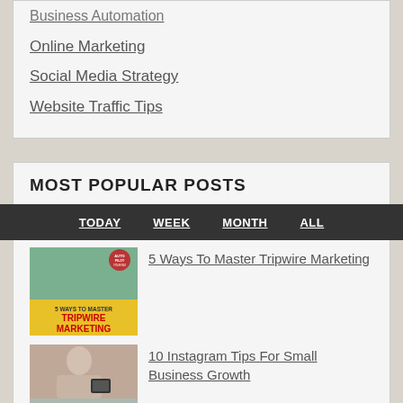Business Automation
Online Marketing
Social Media Strategy
Website Traffic Tips
MOST POPULAR POSTS
TODAY  WEEK  MONTH  ALL
[Figure (photo): Boy with glasses making surprised face, with text overlay '5 Ways To Master Tripwire Marketing' and Autopilot Your Business logo]
5 Ways To Master Tripwire Marketing
[Figure (photo): Person holding a smartphone, partial view]
10 Instagram Tips For Small Business Growth